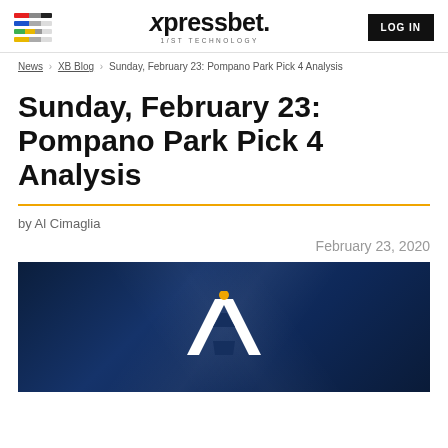xpressbet. 1/ST TECHNOLOGY | LOG IN
News > XB Blog > Sunday, February 23: Pompano Park Pick 4 Analysis
Sunday, February 23: Pompano Park Pick 4 Analysis
by Al Cimaglia
February 23, 2020
[Figure (logo): Xpressbet logo on dark blue gradient background — stylized X mark in white and gold]